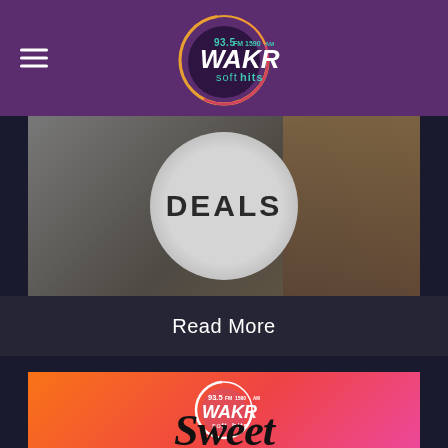[Figure (logo): WAKR 93.5 FM 1590 AM Soft Hits radio station logo with circular swirl design on purple header background]
[Figure (photo): Photo showing a circular sign with the word DEALS in large bold letters, with blurred background]
Read More
[Figure (logo): WAKR 93.5 FM 1590 AM Soft Hits radio station logo on orange-red gradient background with 'Sweet' text below in large italic font]